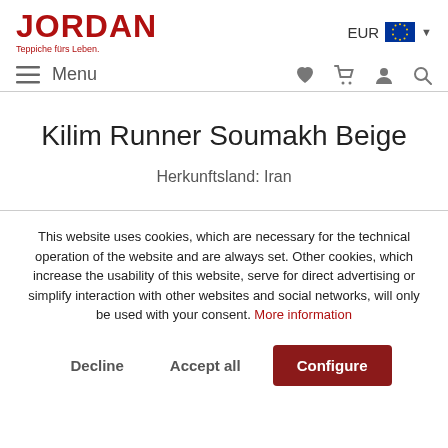JORDAN Teppiche fürs Leben.
Kilim Runner Soumakh Beige
Herkunftsland: Iran
This website uses cookies, which are necessary for the technical operation of the website and are always set. Other cookies, which increase the usability of this website, serve for direct advertising or simplify interaction with other websites and social networks, will only be used with your consent. More information